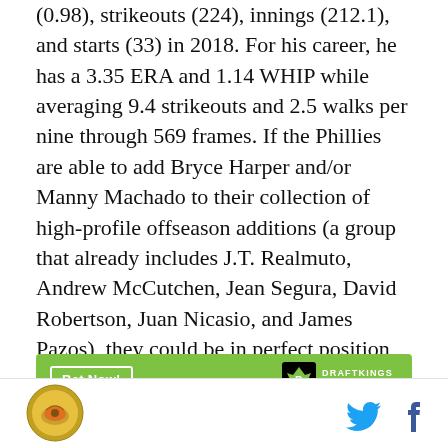(0.98), strikeouts (224), innings (212.1), and starts (33) in 2018. For his career, he has a 3.35 ERA and 1.14 WHIP while averaging 9.4 strikeouts and 2.5 walks per nine through 569 frames. If the Phillies are able to add Bryce Harper and/or Manny Machado to their collection of high-profile offseason additions (a group that already includes J.T. Realmuto, Andrew McCutchen, Jean Segura, David Robertson, Juan Nicasio, and James Pazos), they could be in perfect position to compete for the NL East title, putting Nola on a big stage in the postseason for the first time in his four-year career.
[Figure (other): DraftKings Sportsbook advertisement banner with green background showing 'Bet Now!' button and DraftKings Sportsbook logo]
To win World Series
Site logo and social media icons (Twitter, Facebook)